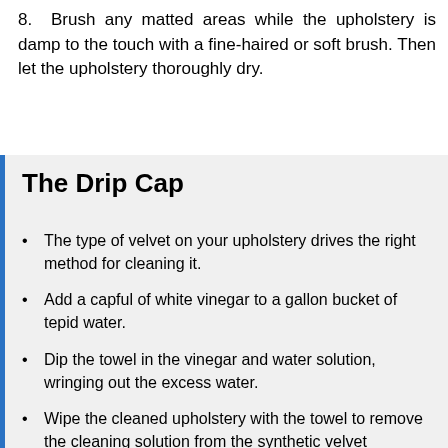8. Brush any matted areas while the upholstery is damp to the touch with a fine-haired or soft brush. Then let the upholstery thoroughly dry.
The Drip Cap
The type of velvet on your upholstery drives the right method for cleaning it.
Add a capful of white vinegar to a gallon bucket of tepid water.
Dip the towel in the vinegar and water solution, wringing out the excess water.
Wipe the cleaned upholstery with the towel to remove the cleaning solution from the synthetic velvet upholstery.